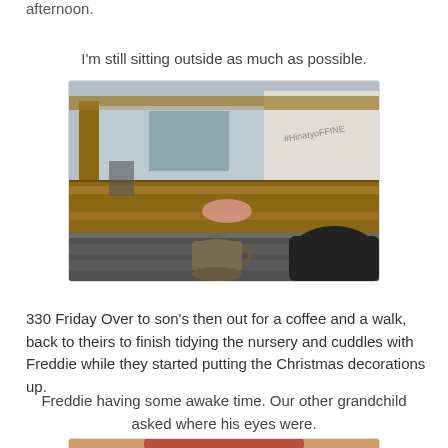afternoon.
I'm still sitting outside as much as possible.
[Figure (photo): Outdoor seating area with a wooden table and a mug on it, a black bag, and a covered outdoor space with transparent panels and wooden structure in the background]
330 Friday Over to son's then out for a coffee and a walk, back to theirs to finish tidying the nursery and cuddles with Freddie while they started putting the Christmas decorations up.
Freddie having some awake time. Our other grandchild asked where his eyes were.
[Figure (photo): Close-up photo of a baby's face with eyes closed, with a wooden surface background]